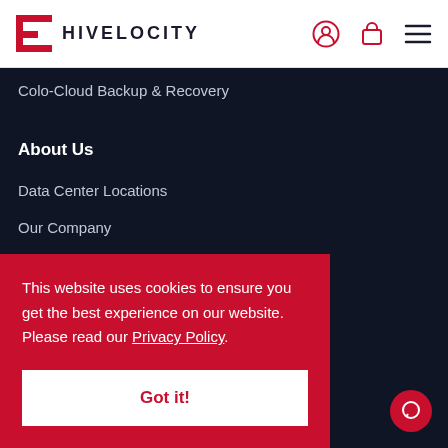HIVELOCITY
Colo-Cloud Backup & Recovery
About Us
Data Center Locations
Our Company
Contact Us
Team
This website uses cookies to ensure you get the best experience on our website. Please read our Privacy Policy.
Got it!